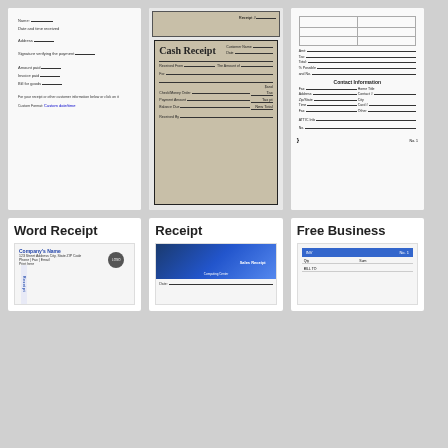[Figure (other): Preview of a Word Receipt form with blank fields for address, date, amount, and signature lines]
[Figure (other): Cash Receipt form with beige/tan background, fields for customer name, date, received from, amount, description, and total]
[Figure (other): Free Business receipt form with table grid and fields for company contact information]
Word Receipt
Receipt
Free Business
[Figure (other): Company Header receipt template preview with company name in blue and circular stamp]
[Figure (other): Sales Receipt with blue gradient image of computing center]
[Figure (other): Free Business receipt template with blue header bar and grid rows]